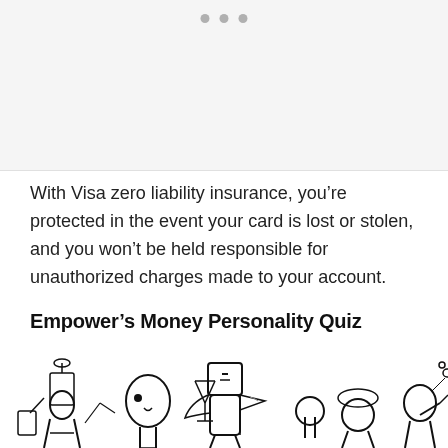[Figure (other): Top image area with navigation dots (carousel indicators) on a light grey background]
With Visa zero liability insurance, you're protected in the event your card is lost or stolen, and you won't be held responsible for unauthorized charges made to your account.
Empower's Money Personality Quiz
[Figure (illustration): Black and white hand-drawn illustration of various cartoon characters representing different money personality types]